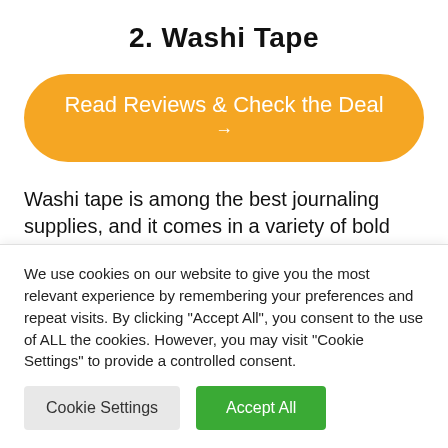2. Washi Tape
Read Reviews & Check the Deal →
Washi tape is among the best journaling supplies, and it comes in a variety of bold patterns and
We use cookies on our website to give you the most relevant experience by remembering your preferences and repeat visits. By clicking "Accept All", you consent to the use of ALL the cookies. However, you may visit "Cookie Settings" to provide a controlled consent.
Cookie Settings | Accept All